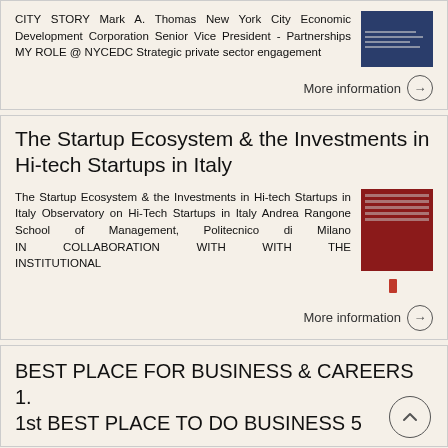CITY STORY Mark A. Thomas New York City Economic Development Corporation Senior Vice President - Partnerships MY ROLE @ NYCEDC Strategic private sector engagement
More information →
The Startup Ecosystem & the Investments in Hi-tech Startups in Italy
The Startup Ecosystem & the Investments in Hi-tech Startups in Italy Observatory on Hi-Tech Startups in Italy Andrea Rangone School of Management, Politecnico di Milano IN COLLABORATION WITH WITH THE INSTITUTIONAL
More information →
BEST PLACE FOR BUSINESS & CAREERS 1. 1st BEST PLACE TO DO BUSINESS 5